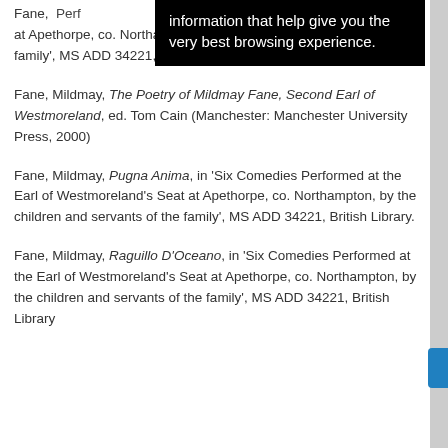[Figure (screenshot): Black tooltip overlay box with white text reading: 'information that help give you the very best browsing experience.']
Fane, [partially obscured] Performed [...] at Apethorpe, co. Northampton, by the children and servants of the family', MS ADD 34221, British Library
Fane, Mildmay, The Poetry of Mildmay Fane, Second Earl of Westmoreland, ed. Tom Cain (Manchester: Manchester University Press, 2000)
Fane, Mildmay, Pugna Anima, in 'Six Comedies Performed at the Earl of Westmoreland's Seat at Apethorpe, co. Northampton, by the children and servants of the family', MS ADD 34221, British Library.
Fane, Mildmay, Raguillo D'Oceano, in 'Six Comedies Performed at the Earl of Westmoreland's Seat at Apethorpe, co. Northampton, by the children and servants of the family', MS ADD 34221, British Library